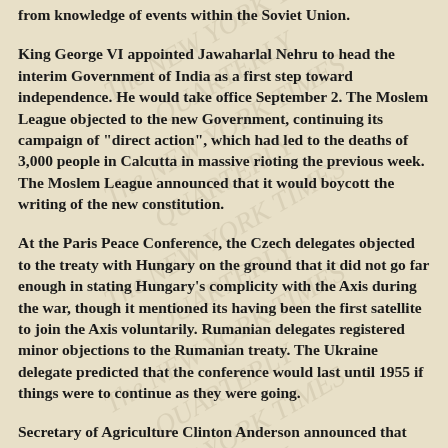from knowledge of events within the Soviet Union.
King George VI appointed Jawaharlal Nehru to head the interim Government of India as a first step toward independence. He would take office September 2. The Moslem League objected to the new Government, continuing its campaign of "direct action", which had led to the deaths of 3,000 people in Calcutta in massive rioting the previous week. The Moslem League announced that it would boycott the writing of the new constitution.
At the Paris Peace Conference, the Czech delegates objected to the treaty with Hungary on the ground that it did not go far enough in stating Hungary's complicity with the Axis during the war, though it mentioned its having been the first satellite to join the Axis voluntarily. Rumanian delegates registered minor objections to the Rumanian treaty. The Ukraine delegate predicted that the conference would last until 1955 if things were to continue as they were going.
Secretary of Agriculture Clinton Anderson announced that the Government's relaxation of restrictions on grain imposed during the winter would allow white bread and flour to replace the dark bread in the nation's grocery stores and bakeries. The grain supply had improved to allow an increase of the goal of 250 million bushels to 400 million bushels of grain to be